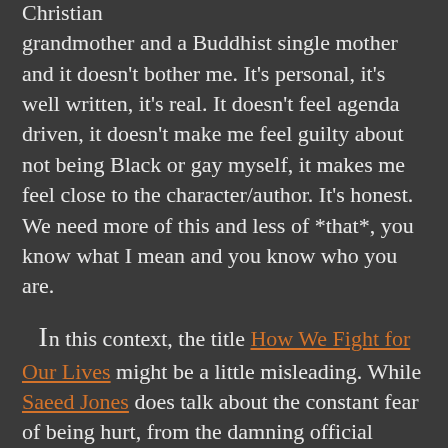Christian grandmother and a Buddhist single mother and it doesn't bother me. It's personal, it's well written, it's real. It doesn't feel agenda driven, it doesn't make me feel guilty about not being Black or gay myself, it makes me feel close to the character/author. It's honest. We need more of this and less of *that*, you know what I mean and you know who you are.
In this context, the title How We Fight for Our Lives might be a little misleading. While Saeed Jones does talk about the constant fear of being hurt, from the damning official pronouncements that hint you will die of AIDS